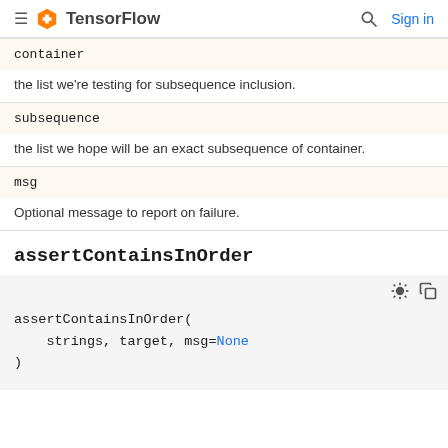≡ TensorFlow  🔍 Sign in
| container | the list we're testing for subsequence inclusion. |
| subsequence | the list we hope will be an exact subsequence of container. |
| msg | Optional message to report on failure. |
assertContainsInOrder
assertContainsInOrder(
    strings, target, msg=None
)